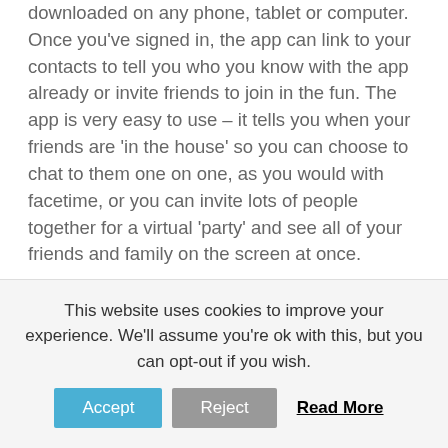downloaded on any phone, tablet or computer. Once you've signed in, the app can link to your contacts to tell you who you know with the app already or invite friends to join in the fun. The app is very easy to use – it tells you when your friends are 'in the house' so you can choose to chat to them one on one, as you would with facetime, or you can invite lots of people together for a virtual 'party' and see all of your friends and family on the screen at once.
House Party is currently the number one downloaded app in the UK so chances are, if you have younger family members, they will already have the app and will be able to guide you through the process if you feel
This website uses cookies to improve your experience. We'll assume you're ok with this, but you can opt-out if you wish.